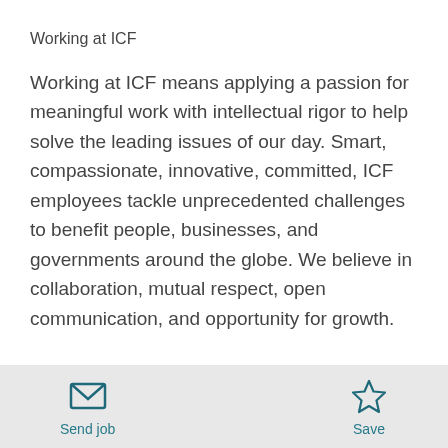Working at ICF
Working at ICF means applying a passion for meaningful work with intellectual rigor to help solve the leading issues of our day. Smart, compassionate, innovative, committed, ICF employees tackle unprecedented challenges to benefit people, businesses, and governments around the globe. We believe in collaboration, mutual respect, open communication, and opportunity for growth.
Send job   Save